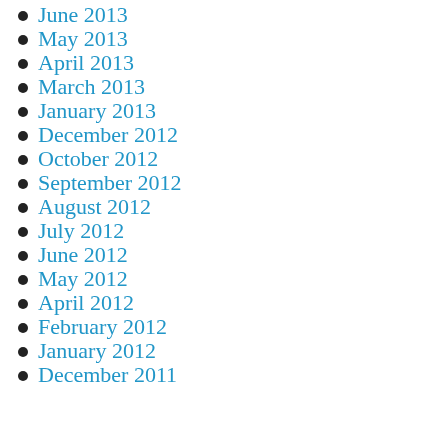June 2013
May 2013
April 2013
March 2013
January 2013
December 2012
October 2012
September 2012
August 2012
July 2012
June 2012
May 2012
April 2012
February 2012
January 2012
December 2011